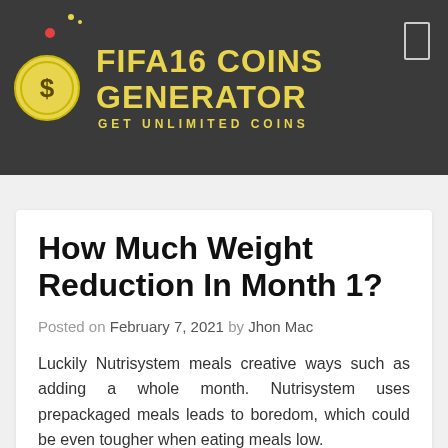FIFA16 COINS GENERATOR — GET UNLIMITED COINS
How Much Weight Reduction In Month 1?
Posted on February 7, 2021 by Jhon Mac
Luckily Nutrisystem meals creative ways such as adding a whole month. Nutrisystem uses prepackaged meals leads to boredom, which could be even tougher when eating meals low.